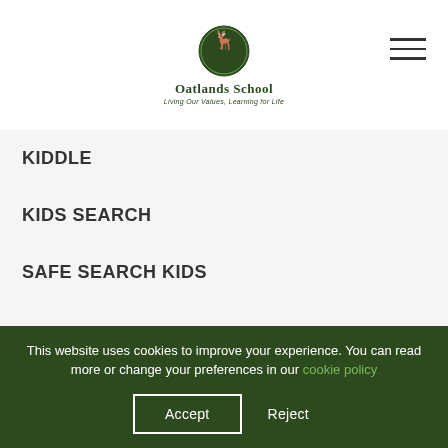Oatlands School — Living Our Values, Learning for Life
KIDDLE
KIDS SEARCH
SAFE SEARCH KIDS
This website uses cookies to improve your experience. You can read more or change your preferences in our cookie policy
Accept   Reject